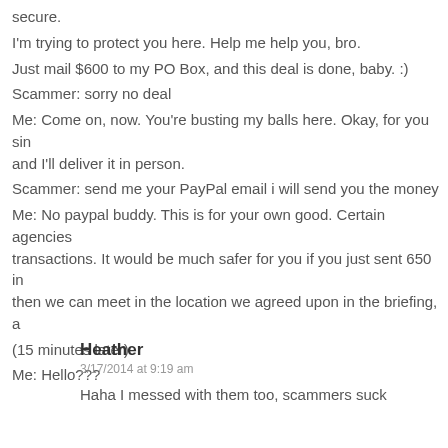secure.
I'm trying to protect you here. Help me help you, bro.
Just mail $600 to my PO Box, and this deal is done, baby. :)
Scammer: sorry no deal
Me: Come on, now. You're busting my balls here. Okay, for you sin and I'll deliver it in person.
Scammer: send me your PayPal email i will send you the money
Me: No paypal buddy. This is for your own good. Certain agencies transactions. It would be much safer for you if you just sent 650 in then we can meet in the location we agreed upon in the briefing, a
(15 minutes later)
Me: Hello???
Heather
3/17/2014 at 9:19 am
Haha I messed with them too, scammers suck